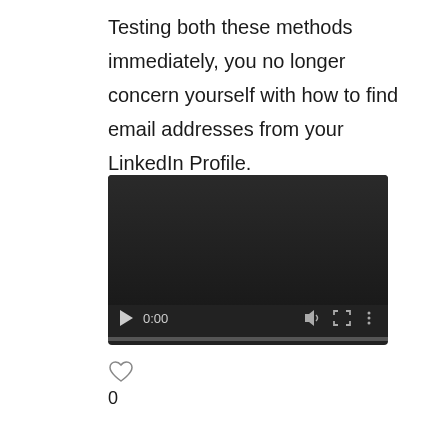Testing both these methods immediately, you no longer concern yourself with how to find email addresses from your LinkedIn Profile.
[Figure (screenshot): A video player in dark/black background showing paused state at 0:00 with playback controls (play button, timestamp, volume, fullscreen, more options) and a progress bar at the bottom.]
0